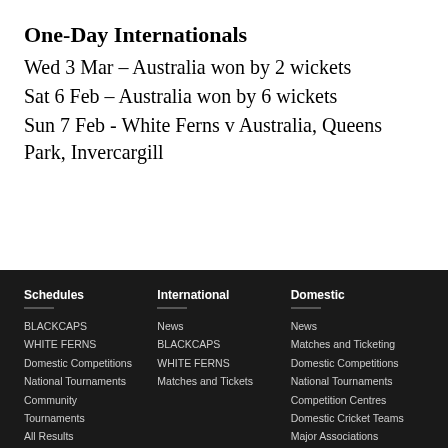One-Day Internationals
Wed 3 Mar – Australia won by 2 wickets
Sat 6 Feb – Australia won by 6 wickets
Sun 7 Feb - White Ferns v Australia, Queens Park, Invercargill
Schedules | International | Domestic — BLACKCAPS, WHITE FERNS, Domestic Competitions, National Tournaments, Community, Tournaments, All Results | News, BLACKCAPS, WHITE FERNS, Matches and Tickets | News, Matches and Ticketing, Domestic Competitions, National Tournaments, Competition Centres, Domestic Cricket Teams, Major Associations